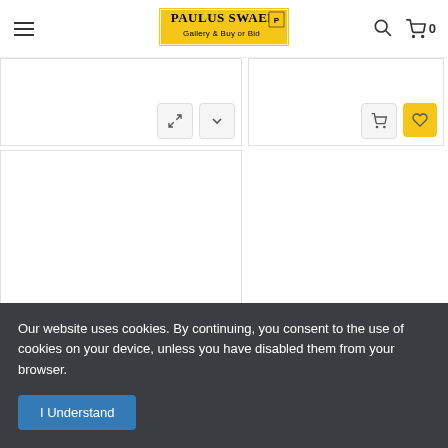Paulus Swaen Gallery & Buy or Bid
[Figure (screenshot): Product cards showing shopping interface with icons for expand, dropdown, cart, and wishlist buttons]
Our website uses cookies. By continuing, you consent to the use of cookies on your device, unless you have disabled them from your browser.
I Understand